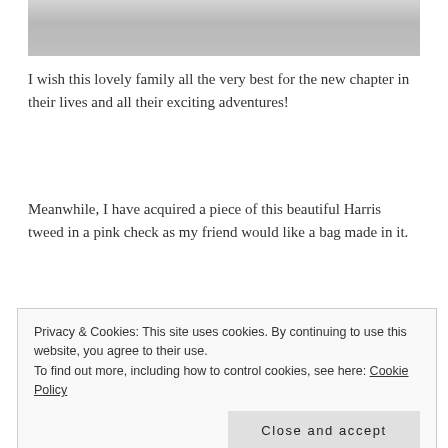[Figure (photo): Top portion of a grey/light colored fabric or garment photo, cropped at top of page]
I wish this lovely family all the very best for the new chapter in their lives and all their exciting adventures!
Meanwhile, I have acquired a piece of this beautiful Harris tweed in a pink check as my friend would like a bag made in it.
[Figure (photo): A piece of Harris tweed fabric in vibrant pink, purple, and orange check pattern]
Privacy & Cookies: This site uses cookies. By continuing to use this website, you agree to their use.
To find out more, including how to control cookies, see here: Cookie Policy
Close and accept